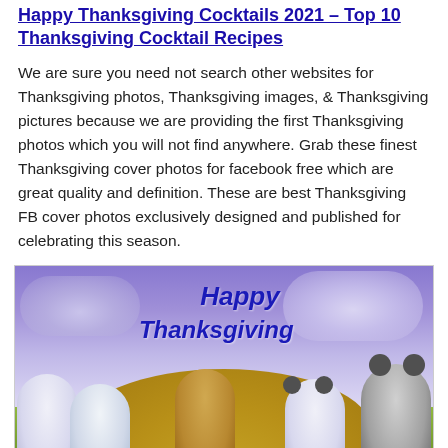Happy Thanksgiving Cocktails 2021 – Top 10 Thanksgiving Cocktail Recipes
We are sure you need not search other websites for Thanksgiving photos, Thanksgiving images, & Thanksgiving pictures because we are providing the first Thanksgiving photos which you will not find anywhere. Grab these finest Thanksgiving cover photos for facebook free which are great quality and definition. These are best Thanksgiving FB cover photos exclusively designed and published for celebrating this season.
[Figure (illustration): Happy Thanksgiving illustration featuring Disney characters (Daisy Duck, Donald Duck, Goofy, Minnie Mouse, Mickey Mouse) in Thanksgiving attire on a green hillside with purple cloudy sky background and 'Happy Thanksgiving' text in bold italic blue letters.]